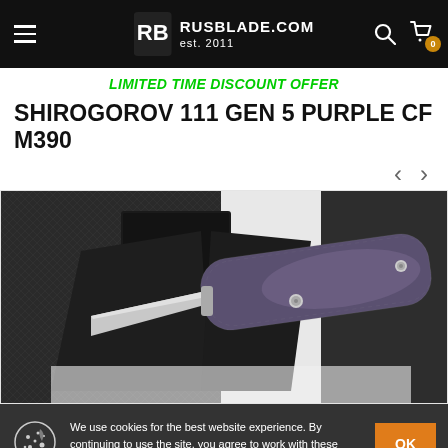RUSBLADE.COM est. 2011
LIMITED TIME DISCOUNT OFFER
SHIROGOROV 111 GEN 5 PURPLE CF M390
[Figure (photo): Shirogorov 111 Gen 5 folding knife with purple carbon fiber handle (M390 steel), displayed open on a dark cloth with black box packaging.]
We use cookies for the best website experience. By continuing to use the site, you agree to work with these files.